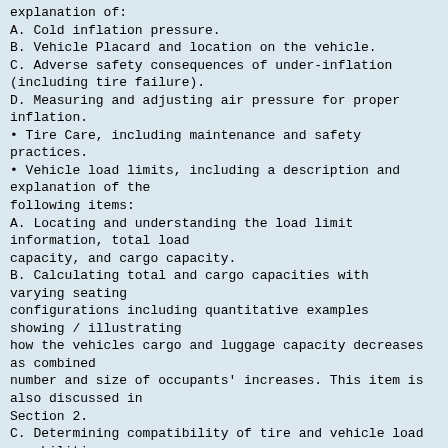explanation of:
A. Cold inflation pressure.
B. Vehicle Placard and location on the vehicle.
C. Adverse safety consequences of under-inflation (including tire failure).
D. Measuring and adjusting air pressure for proper inflation.
• Tire Care, including maintenance and safety practices.
• Vehicle load limits, including a description and explanation of the following items:
A. Locating and understanding the load limit information, total load capacity, and cargo capacity.
B. Calculating total and cargo capacities with varying seating configurations including quantitative examples showing / illustrating how the vehicles cargo and luggage capacity decreases as combined number and size of occupants' increases. This item is also discussed in Section 2.
C. Determining compatibility of tire and vehicle load capabilities.
D. Adverse safety consequences of overloading on handling and stopping on tires.
6
Safety information
1. Steps for determining correct load limit – trailer Determining the load limits of a trailer includes